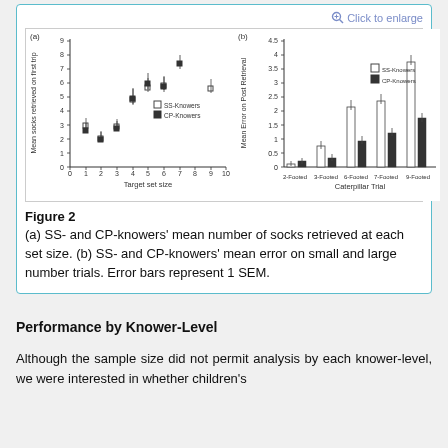[Figure (continuous-plot): Two scientific plots side by side. Left: scatter/dot plot showing mean socks retrieved on first trip vs target set size (0-10) for SS-Knowers (open squares) and CP-Knowers (filled squares). Right: grouped bar chart showing mean error on post retrieval across Caterpillar Trial conditions (2-Footed, 3-Footed, 6-Footed, 7-Footed, 9-Footed) for SS-Knowers (white bars) and CP-Knowers (black bars). Both plots have error bars representing 1 SEM.]
Figure 2
(a) SS- and CP-knowers' mean number of socks retrieved at each set size. (b) SS- and CP-knowers' mean error on small and large number trials. Error bars represent 1 SEM.
Performance by Knower-Level
Although the sample size did not permit analysis by each knower-level, we were interested in whether children's